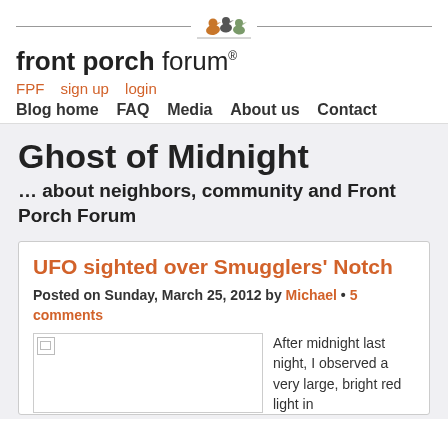[Figure (logo): Front Porch Forum logo with three birds on a line above the text]
front porch forum® | FPF  sign up  login | Blog home  FAQ  Media  About us  Contact
Ghost of Midnight
… about neighbors, community and Front Porch Forum
UFO sighted over Smugglers' Notch
Posted on Sunday, March 25, 2012 by Michael • 5 comments
After midnight last night, I observed a very large, bright red light in…